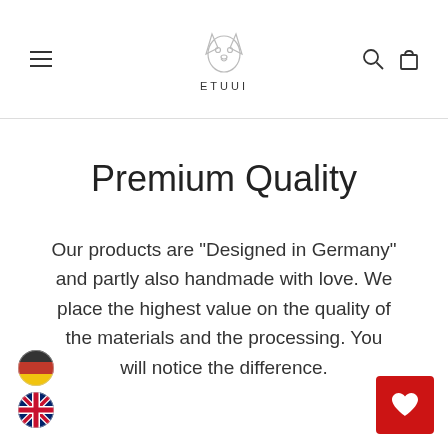ETUUI
Premium Quality
Our products are "Designed in Germany" and partly also handmade with love. We place the highest value on the quality of the materials and the processing. You will notice the difference.
[Figure (illustration): German flag circle icon]
[Figure (illustration): UK flag circle icon]
[Figure (illustration): Red heart button icon]